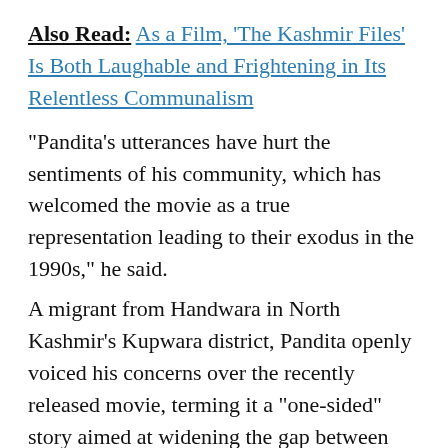Also Read: As a Film, 'The Kashmir Files' Is Both Laughable and Frightening in Its Relentless Communalism
“Pandita’s utterances have hurt the sentiments of his community, which has welcomed the movie as a true representation leading to their exodus in the 1990s,” he said.
A migrant from Handwara in North Kashmir’s Kupwara district, Pandita openly voiced his concerns over the recently released movie, terming it a “one-sided” story aimed at widening the gap between Muslims and Hindus.
The activist, who lives in the Jagti migrant camp on the outskirts of Jammu, however, said he was not against the movie but the “politics of polarisation and continuous exploitation of the pandit community”.
“I felt the need to make people aware of the movie as I am the reality. This did not go down well with the BJP, which has largely exploited the community for its vote